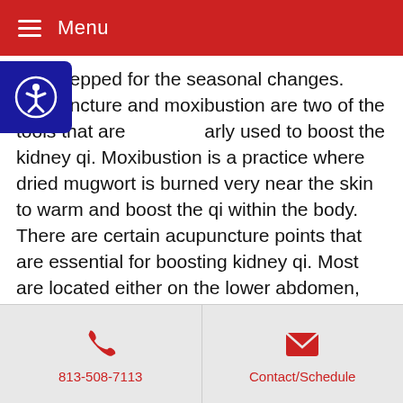Menu
and prepped for the seasonal changes. Acupuncture and moxibustion are two of the tools that are arly used to boost the kidney qi. Moxibustion is a tice where dried mugwort is burned very near the skin to warm and boost the qi within the body. There are certain acupuncture points that are essential for boosting kidney qi. Most are located either on the lower abdomen, below the umbilicus or on the lower back above the hip bones, in the areas of the kidneys. Applying moxibustion to these areas is a wonderful way to boost the energy reserves of the kidneys.
When we align ourselves with the natural processes
813-508-7113   Contact/Schedule